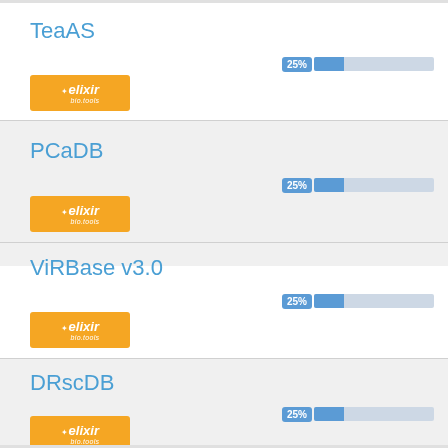TeaAS
[Figure (other): ELIXIR bio.tools badge - orange rectangular badge with elixir bio.tools logo]
[Figure (bar-chart): TeaAS progress]
PCaDB
[Figure (other): ELIXIR bio.tools badge - orange rectangular badge with elixir bio.tools logo]
[Figure (bar-chart): PCaDB progress]
ViRBase v3.0
[Figure (other): ELIXIR bio.tools badge - orange rectangular badge with elixir bio.tools logo]
[Figure (bar-chart): ViRBase v3.0 progress]
DRscDB
[Figure (other): ELIXIR bio.tools badge - orange rectangular badge with elixir bio.tools logo]
[Figure (bar-chart): DRscDB progress]